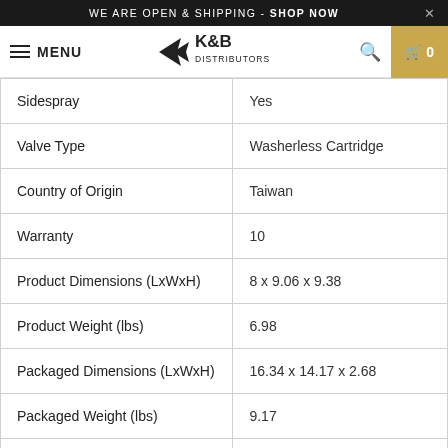WE ARE OPEN & SHIPPING - SHOP NOW
MENU | K&B Distributors | Search | Cart 0
| Attribute | Value |
| --- | --- |
| Sidespray | Yes |
| Valve Type | Washerless Cartridge |
| Country of Origin | Taiwan |
| Warranty | 10 |
| Product Dimensions (LxWxH) | 8 x 9.06 x 9.38 |
| Product Weight (lbs) | 6.98 |
| Packaged Dimensions (LxWxH) | 16.34 x 14.17 x 2.68 |
| Packaged Weight (lbs) | 9.17 |